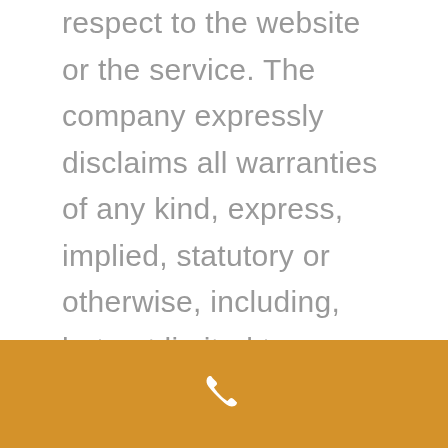respect to the website or the service. The company expressly disclaims all warranties of any kind, express, implied, statutory or otherwise, including, but not limited to, implied warranties of merchantability, fitness for a particular purpose, title and noninfringement, with regard to the website, the service or any information or content contained therein (including third-party
[Figure (other): Golden/amber colored footer bar with a white phone handset icon centered within it]